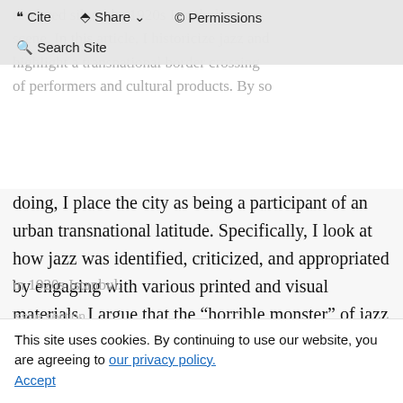rendered silent the 1920s Istanbul jazz scene. In this article, I historicize jazz and highlight a transnational border crossing of performers and cultural products. By so doing, I place the city as being a participant of an urban transnational latitude.
Cite | Share | Permissions | Search Site
doing, I place the city as being a participant of an urban transnational latitude. Specifically, I look at how jazz was identified, criticized, and appropriated by engaging with various printed and visual materials. I argue that the “horrible monster” of jazz was the site of negotiating different notions of the public in 1920s Istanbul.
This site uses cookies. By continuing to use our website, you are agreeing to our privacy policy. Accept